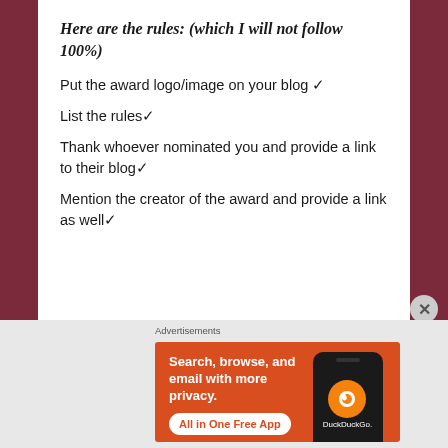Here are the rules: (which I will not follow 100%)
Put the award logo/image on your blog ✓
List the rules✓
Thank whoever nominated you and provide a link to their blog✓
Mention the creator of the award and provide a link as well✓
[Figure (advertisement): DuckDuckGo advertisement banner with orange background. Text reads: Search, browse, and email with more privacy. All in One Free App. Shows phone image with DuckDuckGo logo.]